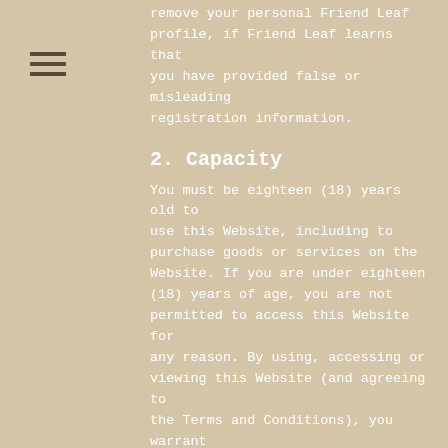remove your personal Friend Leaf profile, if Friend Leaf learns that you have provided false or misleading registration information.
2. Capacity
You must be eighteen (18) years old to use this Website, including to purchase goods or services on the Website. If you are under eighteen (18) years of age, you are not permitted to access this Website for any reason. By using, accessing or viewing this Website (and agreeing to the Terms and Conditions), you warrant and represent that you are at least eighteen (18) years of age. Friend Leaf does not encourage, solicit or permit the use of the Website by visitors known to be under the age of eighteen (18).
Parents and legal guardians are strongly encouraged to monitor the Internet activity of children under